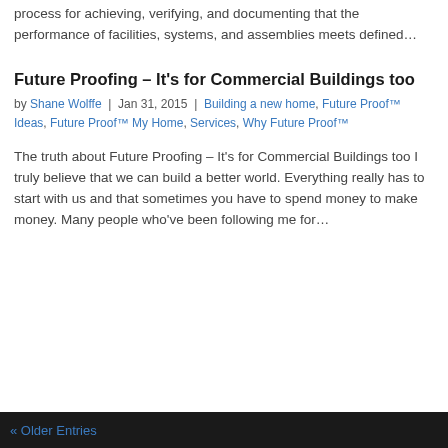process for achieving, verifying, and documenting that the performance of facilities, systems, and assemblies meets defined…
Future Proofing – It's for Commercial Buildings too
by Shane Wolffe | Jan 31, 2015 | Building a new home, Future Proof™ Ideas, Future Proof™ My Home, Services, Why Future Proof™
The truth about Future Proofing – It's for Commercial Buildings too I truly believe that we can build a better world. Everything really has to start with us and that sometimes you have to spend money to make money. Many people who've been following me for…
« Older Entries